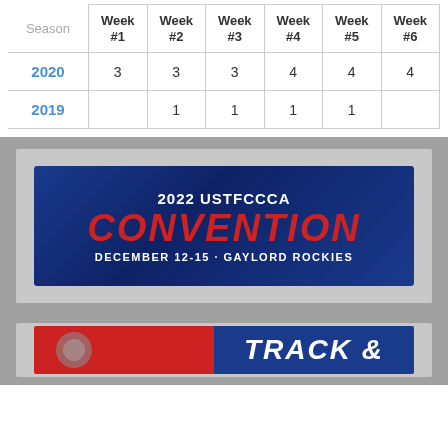| Season | Week #1 | Week #2 | Week #3 | Week #4 | Week #5 | Week #6 |
| --- | --- | --- | --- | --- | --- | --- |
| 2020 | 3 | 3 | 3 | 4 | 4 | 4 |
| 2019 |  | 1 | 1 | 1 | 1 |  |
[Figure (infographic): 2022 USTFCCCA CONVENTION banner — dark blue background with red italic bold text 'CONVENTION' and white text '2022 USTFCCCA' above and 'DECEMBER 12-15 · GAYLORD ROCKIES' below, inside a gray bordered frame.]
[Figure (infographic): Partially visible banner with red left side and blue right side with 'TRACK' text partially visible, cropped at bottom of page.]